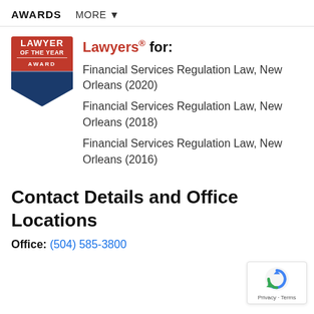AWARDS   MORE ▼
[Figure (logo): Lawyer of the Year Award badge with red top and dark blue shield shape]
Lawyers® for:
Financial Services Regulation Law, New Orleans (2020)
Financial Services Regulation Law, New Orleans (2018)
Financial Services Regulation Law, New Orleans (2016)
Contact Details and Office Locations
Office: (504) 585-3800